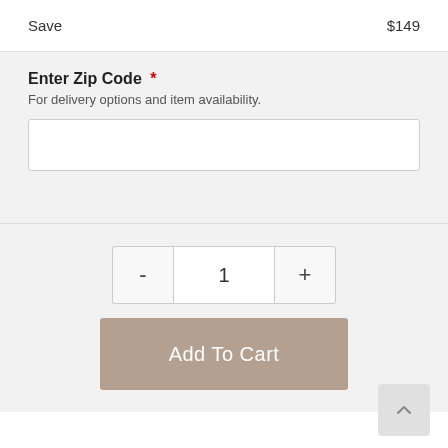Save    $149
Enter Zip Code *
For delivery options and item availability.
1
Add To Cart
Share This Item